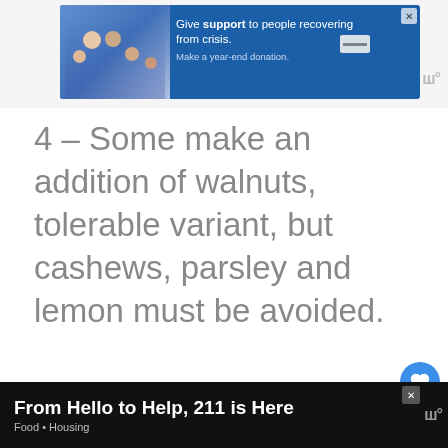[Figure (other): Advertisement banner: blue background with family photo. Text: 'Give support to people recovering from crisis. Make a year-end donation.']
4 – Some make an addition of walnuts, tolerable variant, but cashews, parsley and lemon must be avoided.
[Figure (photo): Close-up photo of wedges of hard cheese (like Parmesan) with a knife on a wooden board]
[Figure (other): What's Next promo box: thumbnail image with text 'WHAT'S NEXT → How to Make Traditional...']
[Figure (other): Bottom advertisement banner on black background: 'From Hello to Help, 211 is Here' with 'Food • Housing' subtitle]